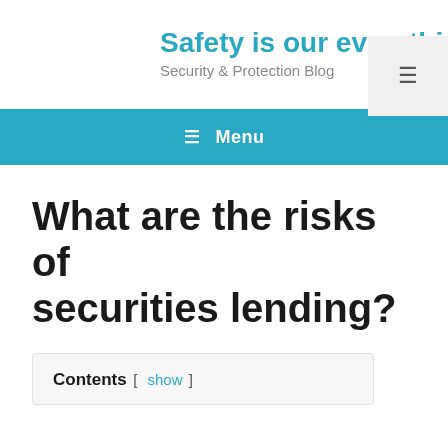Safety is our everything
Security & Protection Blog
☰ Menu
What are the risks of securities lending?
Contents [ show ]